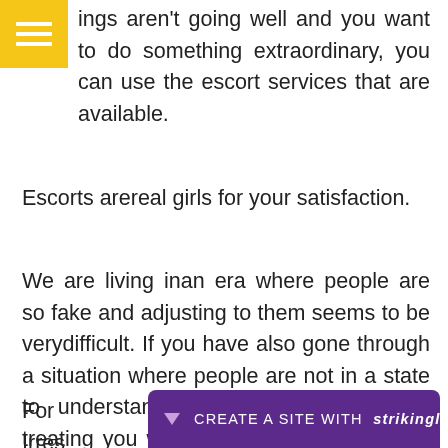[Figure (other): Yellow hamburger menu icon button in top-left corner]
ings aren't going well and you want to do something extraordinary, you can use the escort services that are available.
Escorts arereal girls for your satisfaction.
We are living inan era where people are so fake and adjusting to them seems to be verydifficult. If you have also gone through a situation where people are not in a state to understand you and they are just treating you with all kinds of fake moves, then get the escorts in Delhi available.
For                                                                                    girls. Irres                                                                                n the
[Figure (other): Strikingly website builder promotional bar: purple rectangle with dropdown arrow and text CREATE A SITE WITH strikingly]